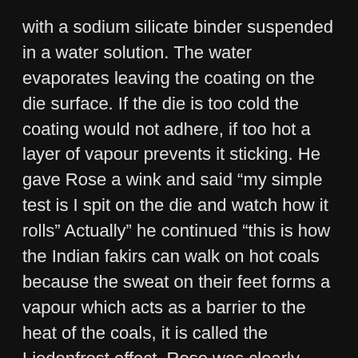with a sodium silicate binder suspended in a water solution. The water evaporates leaving the coating on the die surface. If the die is too cold the coating would not adhere, if too hot a layer of vapour prevents it sticking. He gave Rose a wink and said “my simple test is I spit on the die and watch how it rolls” Actually” he continued “this is how the Indian fakirs can walk on hot coals because the sweat on their feet forms a vapour which acts as a barrier to the heat of the coals, it is called the Liedenfrost effect. Rose was clearly fascinated at this snippet of information.
However Alan used an optical pyrometer rather than spit to help the operator find the best temperature. They soon established an optimum temperature.